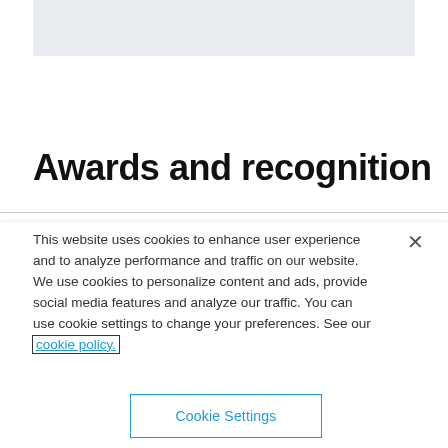[Figure (other): Grey placeholder box at top of page]
Awards and recognition
This website uses cookies to enhance user experience and to analyze performance and traffic on our website. We use cookies to personalize content and ads, provide social media features and analyze our traffic. You can use cookie settings to change your preferences. See our cookie policy.
Cookie Settings